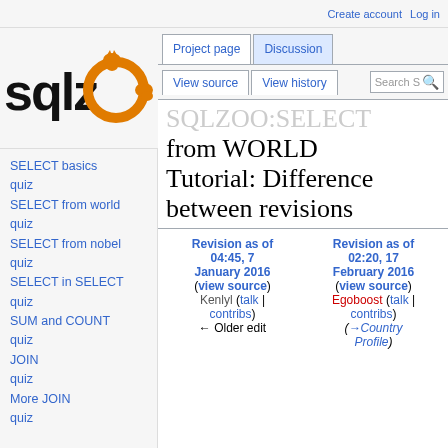Create account  Log in
[Figure (logo): SQLZOO logo with orange animals and orange ring]
SELECT basics
quiz
SELECT from world
quiz
SELECT from nobel
quiz
SELECT in SELECT
quiz
SUM and COUNT
quiz
JOIN
quiz
More JOIN
quiz
SQLZOO:SELECT from WORLD Tutorial: Difference between revisions
| Revision as of 04:45, 7 January 2016 (view source) | Revision as of 02:20, 17 February 2016 (view source) |
| --- | --- |
| Kenlyl (talk | contribs) | Egoboost (talk | contribs) |
| ← Older edit | (→Country Profile) |